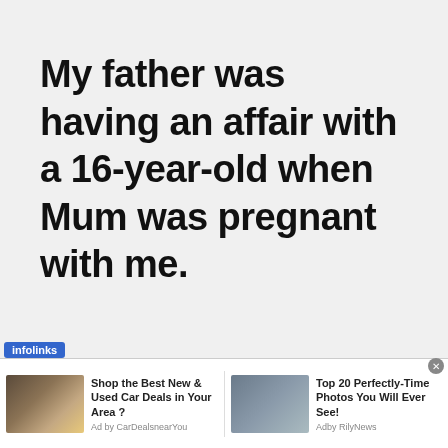My father was having an affair with a 16-year-old when Mum was pregnant with me.
[Figure (screenshot): Infolinks advertisement bar with blue badge logo]
[Figure (screenshot): Ad banner: Shop the Best New & Used Car Deals in Your Area? by CarDealsnearYou, with car image thumbnail]
[Figure (screenshot): Ad banner: Top 20 Perfectly-Time Photos You Will Ever See! by Adby RilyNews, with person image thumbnail]